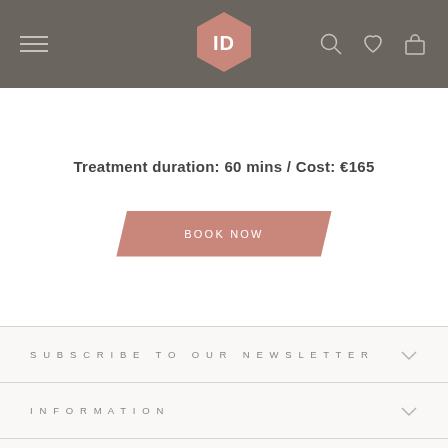[Figure (screenshot): Navigation header bar with hamburger menu, hexagon ID logo in pink/rose, and search/heart/bag icons on dark taupe background]
Treatment duration: 60 mins / Cost: €165
[Figure (other): BOOK NOW button in rose/pink with parallelogram shape]
SUBSCRIBE TO OUR NEWSLETTER
INFORMATION
CONTACT